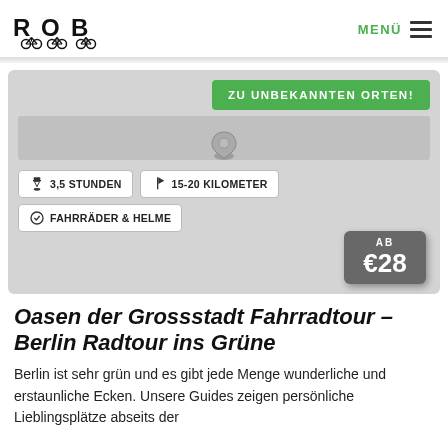ROB [logo with bicycles] | MENÜ ☰
[Figure (screenshot): Tour info card with green button 'ZU UNBEKANNTEN ORTEN!', duration badge '3,5 STUNDEN', distance badge '15-20 KILOMETER', equipment badge 'FAHRRÄDER & HELME', price box 'AB €28']
Oasen der Grossstadt Fahrradtour – Berlin Radtour ins Grüne
Berlin ist sehr grün und es gibt jede Menge wunderliche und erstaunliche Ecken. Unsere Guides zeigen persönliche Lieblingsplätze abseits der